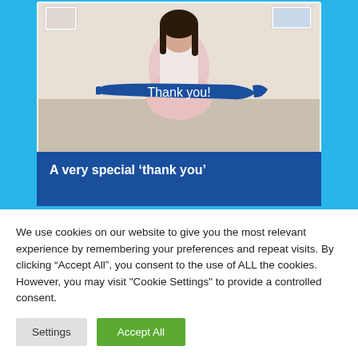[Figure (photo): Photo of a young girl smiling, holding a blue 'Thank you!' painted sign, with artworks on the wall behind her. Below the photo is a dark blue banner reading 'A very special ‘thank you’'. The image is set against a cyan/sky-blue background.]
We use cookies on our website to give you the most relevant experience by remembering your preferences and repeat visits. By clicking “Accept All”, you consent to the use of ALL the cookies. However, you may visit "Cookie Settings" to provide a controlled consent.
Settings
Accept All